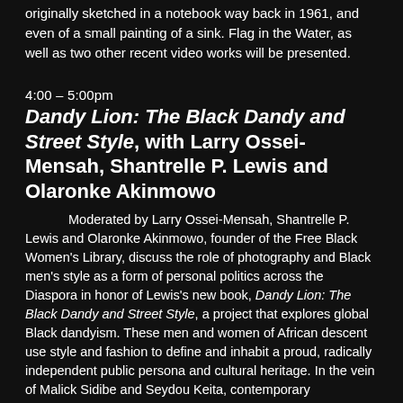originally sketched in a notebook way back in 1961, and even of a small painting of a sink. Flag in the Water, as well as two other recent video works will be presented.
4:00 – 5:00pm
Dandy Lion: The Black Dandy and Street Style, with Larry Ossei-Mensah, Shantrelle P. Lewis and Olaronke Akinmowo
Moderated by Larry Ossei-Mensah, Shantrelle P. Lewis and Olaronke Akinmowo, founder of the Free Black Women's Library, discuss the role of photography and Black men's style as a form of personal politics across the Diaspora in honor of Lewis's new book, Dandy Lion: The Black Dandy and Street Style, a project that explores global Black dandyism. These men and women of African descent use style and fashion to define and inhabit a proud, radically independent public persona and cultural heritage. In the vein of Malick Sidibe and Seydou Keita, contemporary photographers capture their revolutionary spirit and sartorial attire in this internationally renowned project.